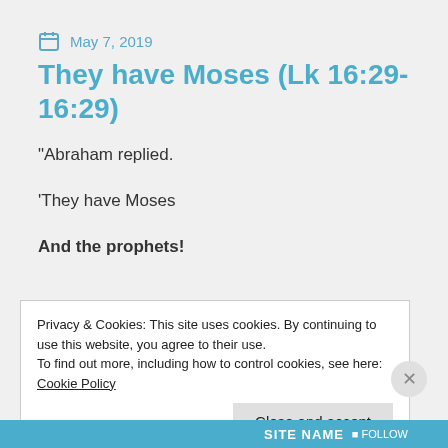May 7, 2019
They have Moses (Lk 16:29-16:29)
“Abraham replied.
‘They have Moses
And the prophets!
Privacy & Cookies: This site uses cookies. By continuing to use this website, you agree to their use.
To find out more, including how to control cookies, see here: Cookie Policy
Close and accept